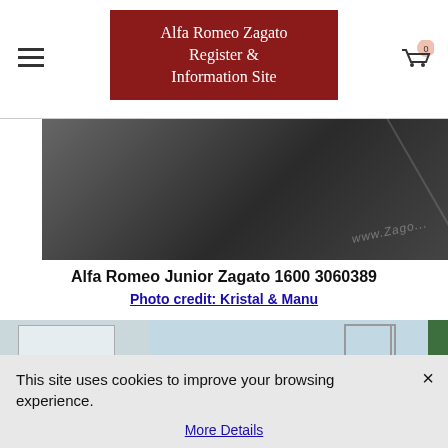Alfa Romeo Zagato Register & Information Site
[Figure (photo): Dark grey close-up photo of a car surface with watermark text 'www.Zago...' in the bottom right corner]
Alfa Romeo Junior Zagato 1600 3060389
Photo credit: Kristal & Manu
[Figure (photo): Partial photo of a silver/grey car in a garage or workshop setting with white garage door, green pillar, and scaffolding visible in the background]
This site uses cookies to improve your browsing experience.
More Details